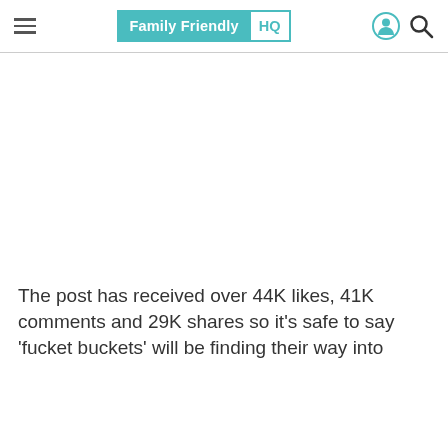Family Friendly HQ — navigation header with hamburger menu, logo, user icon, and search icon
[Figure (other): Blank white advertisement or image area]
The post has received over 44K likes, 41K comments and 29K shares so it's safe to say 'fucket buckets' will be finding their way into